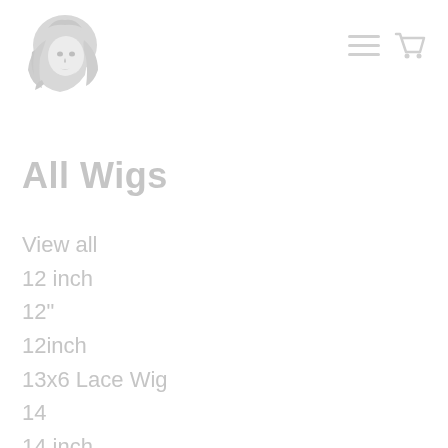[Figure (logo): Woman with flowing hair logo/illustration in light grey]
[Figure (other): Hamburger menu icon and shopping cart icon in light grey]
All Wigs
View all
12 inch
12"
12inch
13x6 Lace Wig
14
14 inch